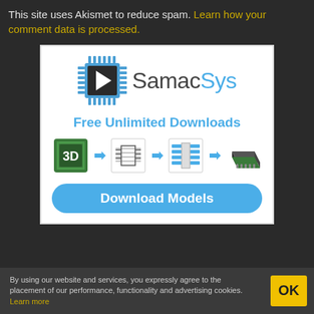This site uses Akismet to reduce spam. Learn how your comment data is processed.
[Figure (logo): SamacSys advertisement banner with chip icon, SamacSys logo, 'Free Unlimited Downloads' text, workflow icons (3D -> schematic -> footprint -> 3D model), and 'Download Models' button]
By using our website and services, you expressly agree to the placement of our performance, functionality and advertising cookies. Learn more